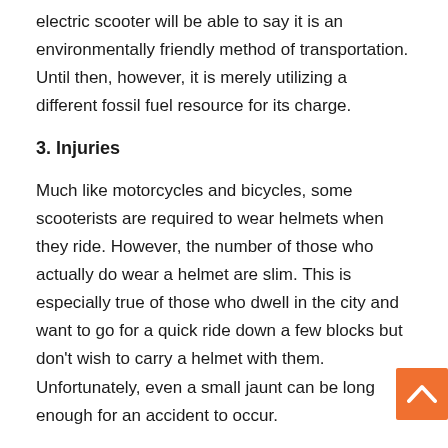electric scooter will be able to say it is an environmentally friendly method of transportation. Until then, however, it is merely utilizing a different fossil fuel resource for its charge.
3. Injuries
Much like motorcycles and bicycles, some scooterists are required to wear helmets when they ride. However, the number of those who actually do wear a helmet are slim. This is especially true of those who dwell in the city and want to go for a quick ride down a few blocks but don't wish to carry a helmet with them. Unfortunately, even a small jaunt can be long enough for an accident to occur.
Because scooterists tend to take risks to further their travel along at a faster pace, they put themselves at a higher chance of risk. Accidents occur. As small as the scooter is, it doesn't